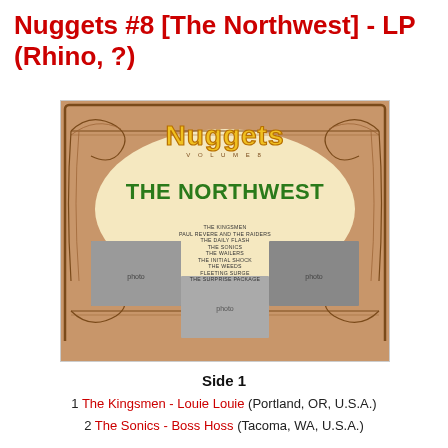Nuggets #8 [The Northwest] - LP (Rhino, ?)
[Figure (photo): Album cover for Nuggets Volume 8: The Northwest on Rhino Records. Tan/brown decorative Art Nouveau border with the 'Nuggets' logo in yellow bubble letters at the top, 'VOLUME 8' beneath it, and 'THE NORTHWEST' in large green letters. Below are two black-and-white band photographs and a list of artist names in small text.]
Side 1
1 The Kingsmen - Louie Louie (Portland, OR, U.S.A.)
2 The Sonics - Boss Hoss (Tacoma, WA, U.S.A.)